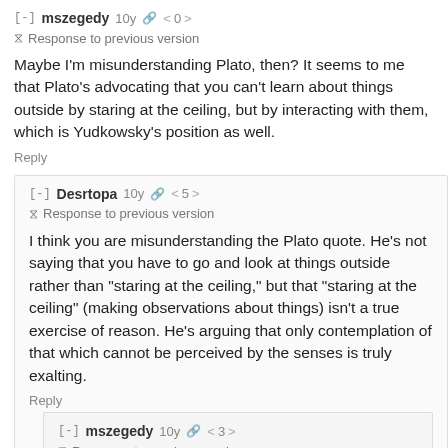[-] mszegedy 10y 🔗 < 0 >
⊙ Response to previous version
Maybe I'm misunderstanding Plato, then? It seems to me that Plato's advocating that you can't learn about things outside by staring at the ceiling, but by interacting with them, which is Yudkowsky's position as well.
Reply
[-] Desrtopa 10y 🔗 < 5 >
⊙ Response to previous version
I think you are misunderstanding the Plato quote. He's not saying that you have to go and look at things outside rather than "staring at the ceiling," but that "staring at the ceiling" (making observations about things) isn't a true exercise of reason. He's arguing that only contemplation of that which cannot be perceived by the senses is truly exalting.
Reply
[-] mszegedy 10y 🔗 < 3 >
⊙ Response to previous version